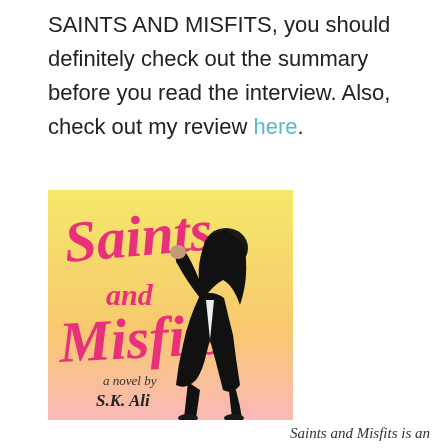SAINTS AND MISFITS, you should definitely check out the summary before you read the interview. Also, check out my review here.
[Figure (illustration): Book cover of 'Saints and Misfits' — a novel by S.K. Ali. Yellow-to-pink gradient background with pink handwritten-style title text 'Saints and Misfits' and a woman wearing a black hijab and flowing black and white outfit.]
Saints and Misfits is an